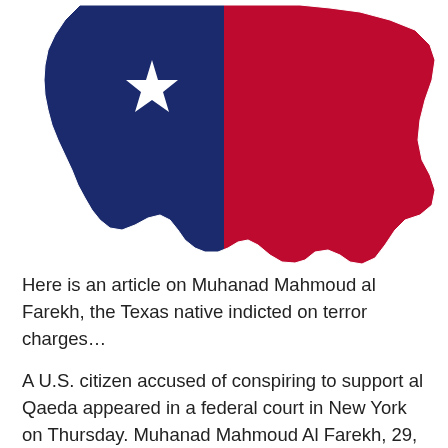[Figure (illustration): Texas state shape filled with the Texas flag colors — left half dark navy blue with a white star, right half dark red/crimson — against a white background.]
Here is an article on Muhanad Mahmoud al Farekh, the Texas native indicted on terror charges…
A U.S. citizen accused of conspiring to support al Qaeda appeared in a federal court in New York on Thursday. Muhanad Mahmoud Al Farekh, 29, was charged with conspiracy, reports said, citing the U.S. attorney for the Eastern District of New York.
Farekh reportedly plotted with others to provide material